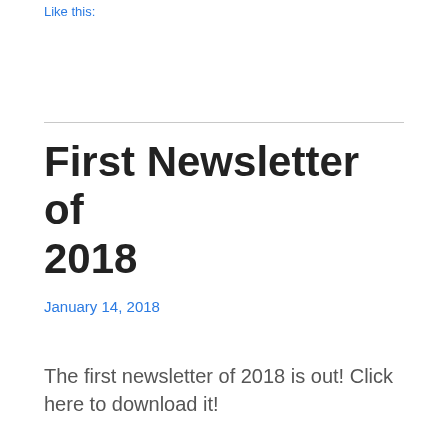Like this:
First Newsletter of 2018
January 14, 2018
The first newsletter of 2018 is out! Click here to download it!